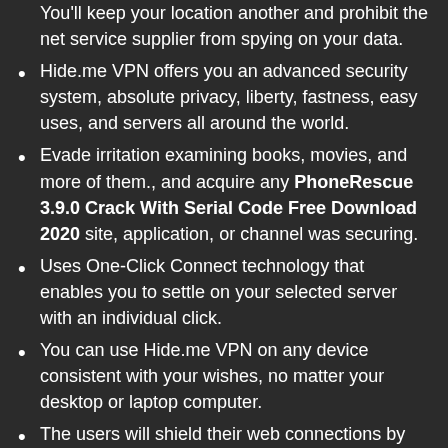You'll keep your location another and prohibit the net service supplier from spying on your data.
Hide.me VPN offers you an advanced security system, absolute privacy, liberty, fastness, easy uses, and servers all around the world.
Evade irritation examining books, movies, and more of them., and acquire any PhoneRescue 3.9.0 Crack With Serial Code Free Download 2020 site, application, or channel was securing.
Uses One-Click Connect technology that enables you to settle on your selected server with an individual click.
You can use Hide.me VPN on any device consistent with your wishes, no matter your desktop or laptop computer.
The users will shield their web connections by encoding their data in a safe code, where they work.